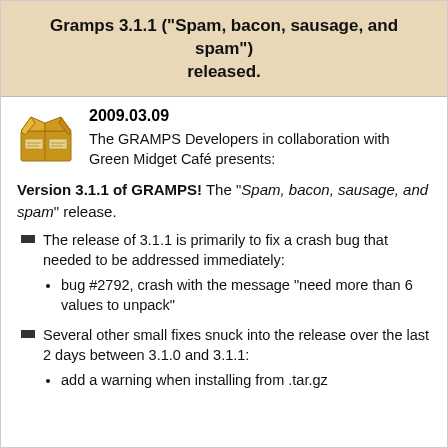Gramps 3.1.1 ("Spam, bacon, sausage, and spam") released.
2009.03.09
The GRAMPS Developers in collaboration with Green Midget Café presents:
Version 3.1.1 of GRAMPS! The "Spam, bacon, sausage, and spam" release.
The release of 3.1.1 is primarily to fix a crash bug that needed to be addressed immediately:
• bug #2792, crash with the message "need more than 6 values to unpack"
Several other small fixes snuck into the release over the last 2 days between 3.1.0 and 3.1.1:
• add a warning when installing from .tar.gz